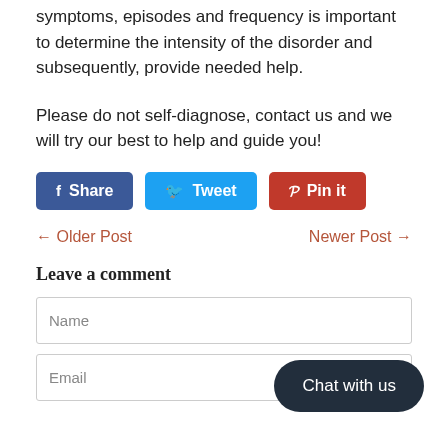symptoms, episodes and frequency is important to determine the intensity of the disorder and subsequently, provide needed help.
Please do not self-diagnose, contact us and we will try our best to help and guide you!
[Figure (other): Social share buttons: Facebook Share, Twitter Tweet, Pinterest Pin it]
← Older Post    Newer Post →
Leave a comment
[Figure (screenshot): Name input field]
[Figure (screenshot): Email input field]
[Figure (other): Chat with us button]